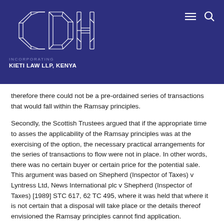[Figure (logo): CDH Cliffe Dekker Hofmeyr logo with geometric diamond-crystal style lettering in white on dark navy background, with hamburger menu and search icons on the right]
INCORPORATING
KIETI LAW LLP, KENYA
therefore there could not be a pre-ordained series of transactions that would fall within the Ramsay principles.
Secondly, the Scottish Trustees argued that if the appropriate time to asses the applicability of the Ramsay principles was at the exercising of the option, the necessary practical arrangements for the series of transactions to flow were not in place. In other words, there was no certain buyer or certain price for the potential sale. This argument was based on Shepherd (Inspector of Taxes) v Lyntress Ltd, News International plc v Shepherd (Inspector of Taxes) [1989] STC 617, 62 TC 495, where it was held that where it is not certain that a disposal will take place or the details thereof envisioned the Ramsay principles cannot find application.